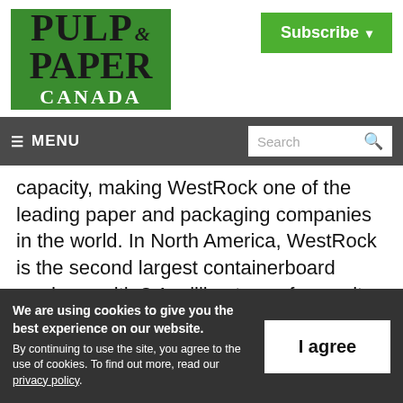[Figure (logo): Pulp & Paper Canada logo — green background with serif bold text]
[Figure (screenshot): Subscribe button — green background with white bold text and dropdown arrow]
[Figure (screenshot): Navigation bar with hamburger MENU label on left and Search box on right]
capacity, making WestRock one of the leading paper and packaging companies in the world. In North America, WestRock is the second largest containerboard producer with 8.1 million tons of capacity and the largest
We are using cookies to give you the best experience on our website.
By continuing to use the site, you agree to the use of cookies. To find out more, read our privacy policy.